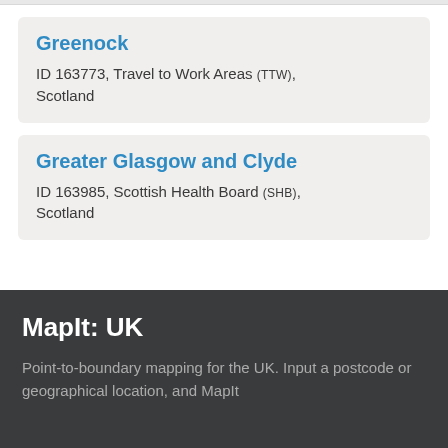Greenock
ID 163773, Travel to Work Areas (TTW), Scotland
Greater Glasgow and Clyde
ID 163985, Scottish Health Board (SHB), Scotland
MapIt: UK
Point-to-boundary mapping for the UK. Input a postcode or geographical location, and MapIt